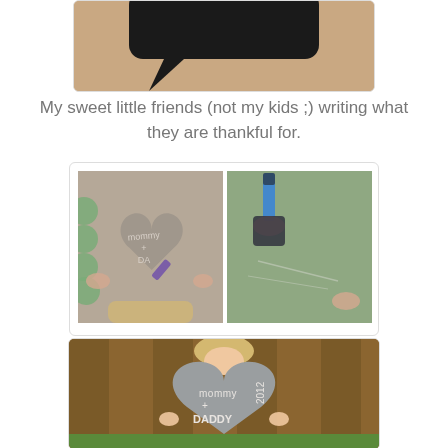[Figure (photo): Top portion of a photo showing a dark speech bubble shape on a brown/tan background, partially cropped]
My sweet little friends (not my kids ;) writing what they are thankful for.
[Figure (photo): Two-panel collage: left panel shows a child writing 'mommy + DA' on a gray heart-shaped chalkboard with a purple marker; right panel shows a blue marker on a green/gray chalkboard surface]
[Figure (photo): A young girl holding a large gray heart-shaped chalkboard with 'mommy + DADDY' and '2012' written on it, standing in front of a wooden fence]